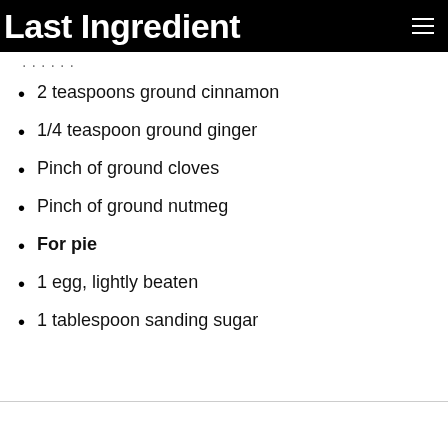Last Ingredient
2 teaspoons ground cinnamon
1/4 teaspoon ground ginger
Pinch of ground cloves
Pinch of ground nutmeg
For pie
1 egg, lightly beaten
1 tablespoon sanding sugar